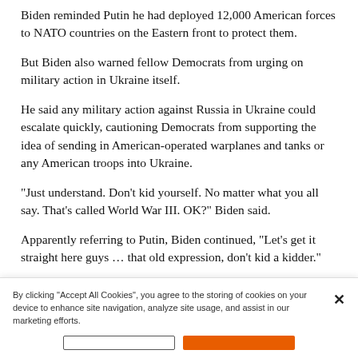Biden reminded Putin he had deployed 12,000 American forces to NATO countries on the Eastern front to protect them.
But Biden also warned fellow Democrats from urging on military action in Ukraine itself.
He said any military action against Russia in Ukraine could escalate quickly, cautioning Democrats from supporting the idea of sending in American-operated warplanes and tanks or any American troops into Ukraine.
“Just understand. Don’t kid yourself. No matter what you all say. That’s called World War III. OK?” Biden said.
Apparently referring to Putin, Biden continued, “Let’s get it straight here guys … that old expression, don’t kid a kidder.”
“We will not fight World World War III in Ukraine,” he
By clicking “Accept All Cookies”, you agree to the storing of cookies on your device to enhance site navigation, analyze site usage, and assist in our marketing efforts.